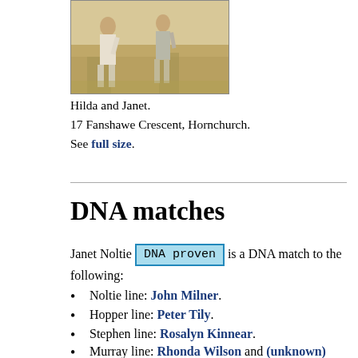[Figure (photo): Sepia/black-and-white photograph of two figures (Hilda and Janet) standing outdoors on sandy ground.]
Hilda and Janet.
17 Fanshawe Crescent, Hornchurch.
See full size.
DNA matches
Janet Noltie [DNA proven] is a DNA match to the following:
Noltie line: John Milner.
Hopper line: Peter Tily.
Stephen line: Rosalyn Kinnear.
Murray line: Rhonda Wilson and (unknown) Reynolds and Robert Lovo and J. Ferguson and